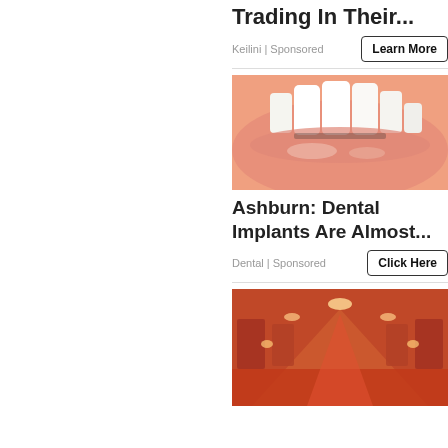Trading In Their...
Keilini | Sponsored
Learn More
[Figure (photo): Close-up photo of white teeth and lips, dental advertisement image]
Ashburn: Dental Implants Are Almost...
Dental | Sponsored
Click Here
[Figure (photo): Photo of a hotel or building corridor with warm red/orange lighting and ornate decor]